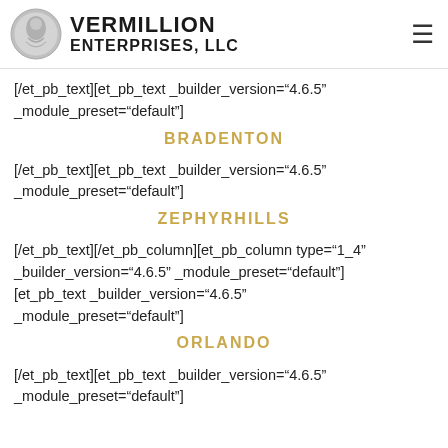VERMILLION ENTERPRISES, LLC
[/et_pb_text][et_pb_text _builder_version="4.6.5" _module_preset="default"]
BRADENTON
[/et_pb_text][et_pb_text _builder_version="4.6.5" _module_preset="default"]
ZEPHYRHILLS
[/et_pb_text][/et_pb_column][et_pb_column type="1_4" _builder_version="4.6.5" _module_preset="default"] [et_pb_text _builder_version="4.6.5" _module_preset="default"]
ORLANDO
[/et_pb_text][et_pb_text _builder_version="4.6.5" _module_preset="default"]